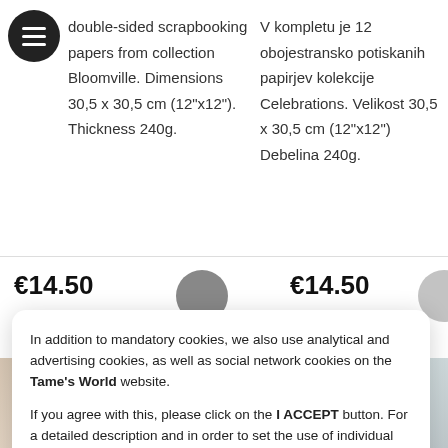[Figure (screenshot): Hamburger menu icon — black circle with three white horizontal lines]
double-sided scrapbooking papers from collection Bloomville. Dimensions 30,5 x 30,5 cm (12"x12"). Thickness 240g.
V kompletu je 12 obojestransko potiskanih papirjev kolekcije Celebrations. Velikost 30,5 x 30,5 cm (12"x12") Debelina 240g.
€14.50
€14.50
In addition to mandatory cookies, we also use analytical and advertising cookies, as well as social network cookies on the Tame's World website.

If you agree with this, please click on the I ACCEPT button. For a detailed description and in order to set the use of individual cookies, click on the COOKIE SETTINGS link.
I ACCEPT
Cookie Settings